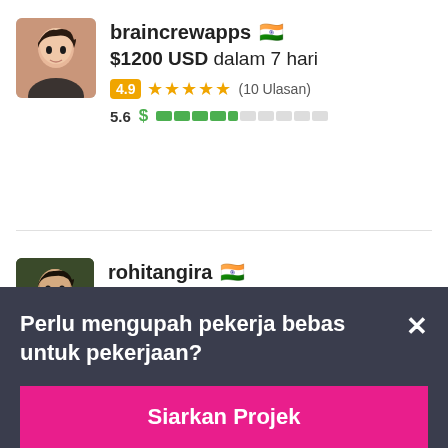[Figure (screenshot): Profile card for freelancer braincrewapps with Indian flag, avatar photo, bid $1200 USD dalam 7 hari, rating 4.9 stars (10 Ulasan), score 5.6 with green bar]
[Figure (screenshot): Partial profile card for freelancer rohitangira with Indian flag, avatar photo, rating badge and stars (46 Ulasan)]
Perlu mengupah pekerja bebas untuk pekerjaan?
Siarkan Projek